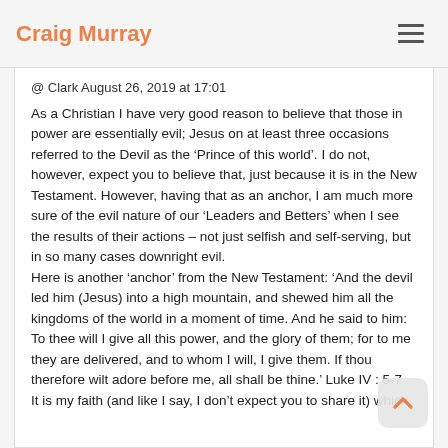Craig Murray
@ Clark August 26, 2019 at 17:01
As a Christian I have very good reason to believe that those in power are essentially evil; Jesus on at least three occasions referred to the Devil as the ‘Prince of this world’. I do not, however, expect you to believe that, just because it is in the New Testament. However, having that as an anchor, I am much more sure of the evil nature of our ‘Leaders and Betters’ when I see the results of their actions – not just selfish and self-serving, but in so many cases downright evil.
Here is another ‘anchor’ from the New Testament: ‘And the devil led him (Jesus) into a high mountain, and shewed him all the kingdoms of the world in a moment of time. And he said to him: To thee will I give all this power, and the glory of them; for to me they are delivered, and to whom I will, I give them. If thou therefore wilt adore before me, all shall be thine.’ Luke IV : 5-7
It is my faith (and like I say, I don’t expect you to share it) which